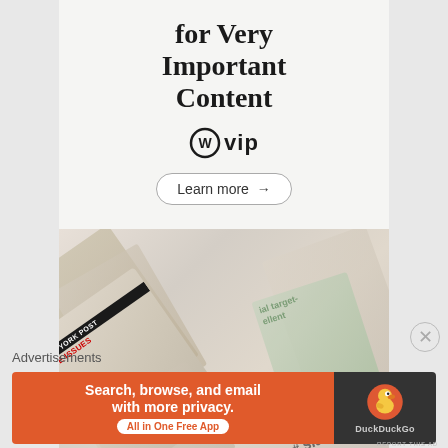[Figure (illustration): WordPress VIP advertisement banner with text 'for Very Important Content', WordPress VIP logo, Learn more button, and background image of overlapping newspapers and publications including New York Post and Slack logo]
Advertisements
[Figure (illustration): DuckDuckGo banner advertisement: 'Search, browse, and email with more privacy. All in One Free App' on orange background with DuckDuckGo duck logo on dark background]